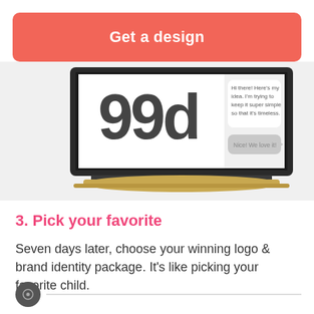[Figure (screenshot): A coral/salmon colored button with white bold text reading 'Get a design', rounded rectangle shape]
[Figure (screenshot): Laptop screen showing 99designs logo (99d) in dark gray, with a chat bubble on the right side saying 'Hi there! Here's my idea. I'm trying to keep it super simple so that it's timeless.' and a response bubble 'Nice! We love it!' The laptop has a gold/champagne body.]
3. Pick your favorite
Seven days later, choose your winning logo & brand identity package. It's like picking your favorite child.